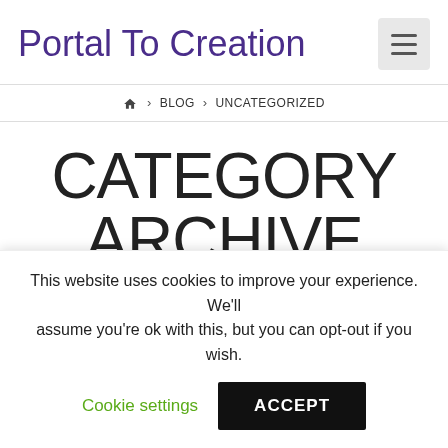Portal To Creation
🏠 › BLOG › UNCATEGORIZED
CATEGORY ARCHIVE
Below you'll find a list of all posts that have been categorized as "Uncategorized"
NOT FEELING
This website uses cookies to improve your experience. We'll assume you're ok with this, but you can opt-out if you wish.
Cookie settings   ACCEPT